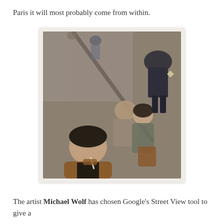Paris it will most probably come from within.
[Figure (photo): Street View style photograph taken from above showing several people on a city street. In the foreground, a young man in a brown jacket smokes a cigarette. Behind him, a couple embraces. In the upper right, a man in a dark suit walks while holding something. The image has a warm, slightly blurred quality.]
The artist Michael Wolf has chosen Google's Street View tool to give a